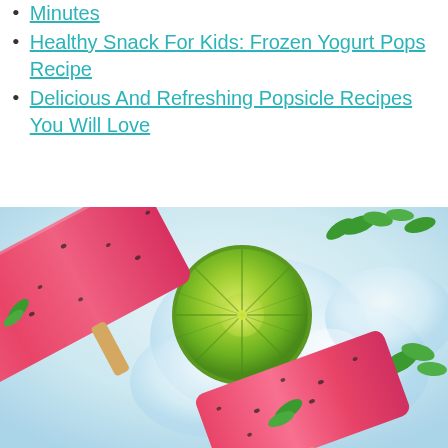Minutes
Healthy Snack For Kids: Frozen Yogurt Pops Recipe
Delicious And Refreshing Popsicle Recipes You Will Love
[Figure (photo): Photo of watermelon popsicles with chia seeds and mint leaves, resting on ice cubes beside a sliced lime, on a light blue background.]